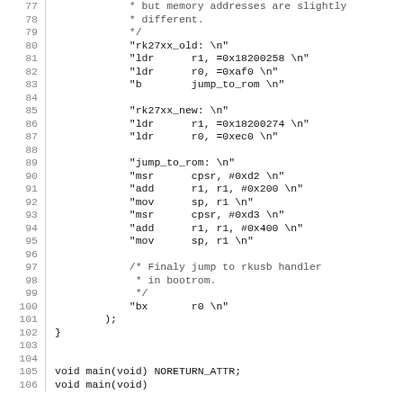Source code listing, lines 77-106, showing ARM assembly inline code in C with comments and function declarations.